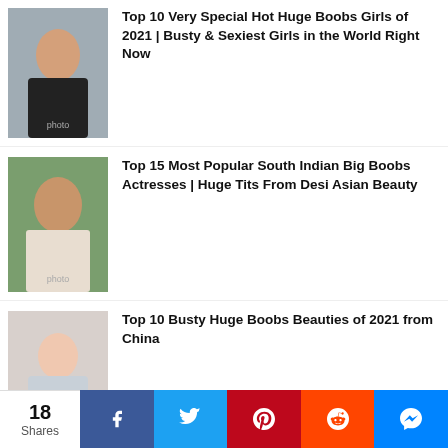Top 10 Very Special Hot Huge Boobs Girls of 2021 | Busty & Sexiest Girls in the World Right Now
Top 15 Most Popular South Indian Big Boobs Actresses | Huge Tits From Desi Asian Beauty
Top 10 Busty Huge Boobs Beauties of 2021 from China
Top 25 Korean Big Boobs Girls's & Huge Milky Tits Pics of 2021 | Asian Biggest Breasts full of Milk from Seul, South & North Korea
Bollywood actress Shruti Haasan openly
18 Shares